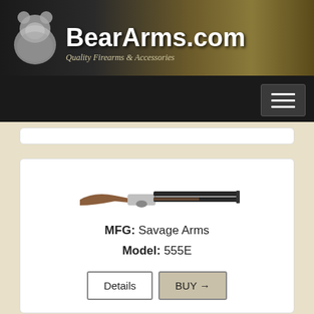[Figure (logo): BearArms.com website header with bear logo, site name in white bold text, and tagline 'Quality Firearms & Accessories' on dark gradient background]
[Figure (screenshot): Navigation bar with hamburger menu button (three horizontal lines) on dark background]
[Figure (photo): Over-under shotgun product image - Savage Arms 555E]
MFG: Savage Arms
Model: 555E
Details   BUY →
[Figure (photo): Over-under shotgun product image - Savage Arms (partial, second product card)]
MFG: Savage Arms